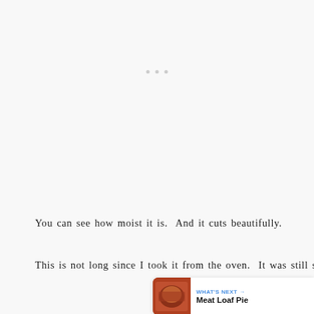[Figure (other): Three small dots indicating an advertisement or placeholder content area at top of page]
You can see how moist it is.  And it cuts beautifully.
This is not long since I took it from the oven.  It was still slightly warm . . .
[Figure (infographic): Sidebar UI elements: heart/like button with count 55, share button, and a 'What's Next' card showing Meat Loaf Pie]